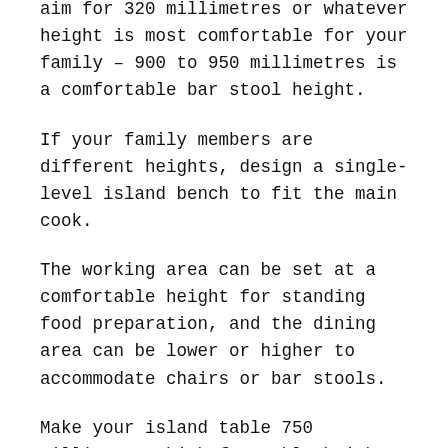aim for 320 millimetres or whatever height is most comfortable for your family – 900 to 950 millimetres is a comfortable bar stool height.
If your family members are different heights, design a single-level island bench to fit the main cook.
The working area can be set at a comfortable height for standing food preparation, and the dining area can be lower or higher to accommodate chairs or bar stools.
Make your island table 750 millimetres high for table-height dining. Use regular dining chairs.